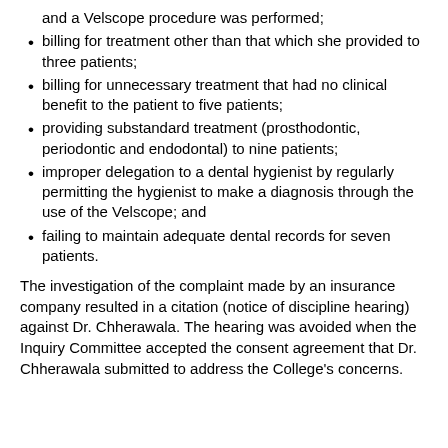and a Velscope procedure was performed;
billing for treatment other than that which she provided to three patients;
billing for unnecessary treatment that had no clinical benefit to the patient to five patients;
providing substandard treatment (prosthodontic, periodontic and endodontal) to nine patients;
improper delegation to a dental hygienist by regularly permitting the hygienist to make a diagnosis through the use of the Velscope; and
failing to maintain adequate dental records for seven patients.
The investigation of the complaint made by an insurance company resulted in a citation (notice of discipline hearing) against Dr. Chherawala. The hearing was avoided when the Inquiry Committee accepted the consent agreement that Dr. Chherawala submitted to address the College’s concerns.